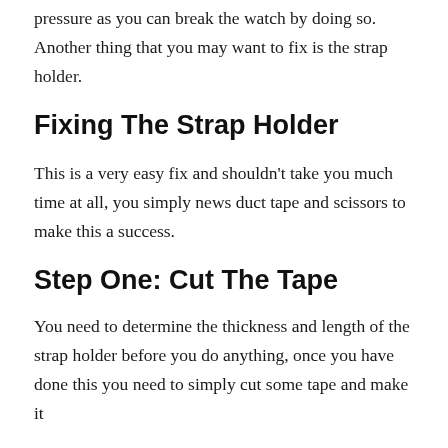Remember with high importance not to apply too much pressure as you can break the watch by doing so. Another thing that you may want to fix is the strap holder.
Fixing The Strap Holder
This is a very easy fix and shouldn’t take you much time at all, you simply news duct tape and scissors to make this a success.
Step One: Cut The Tape
You need to determine the thickness and length of the strap holder before you do anything, once you have done this you need to simply cut some tape and make it fit in all...